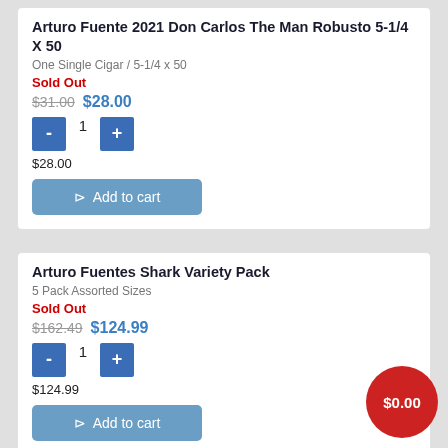Arturo Fuente 2021 Don Carlos The Man Robusto 5-1/4 X 50
One Single Cigar / 5-1/4 x 50
Sold Out
$31.00  $28.00
$28.00
Add to cart
Arturo Fuentes Shark Variety Pack
5 Pack Assorted Sizes
Sold Out
$162.49  $124.99
$124.99
Add to cart
$0.00